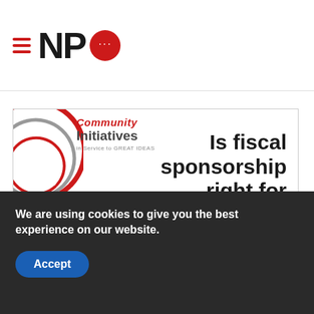NPQ (Nonprofit Quarterly) logo with hamburger menu
[Figure (infographic): Community Initiatives advertisement asking 'Is fiscal sponsorship right for your nonprofit?' with a 'Click here to learn more' button. Features Community Initiatives logo with red arc graphic on left.]
We are using cookies to give you the best experience on our website.
Accept